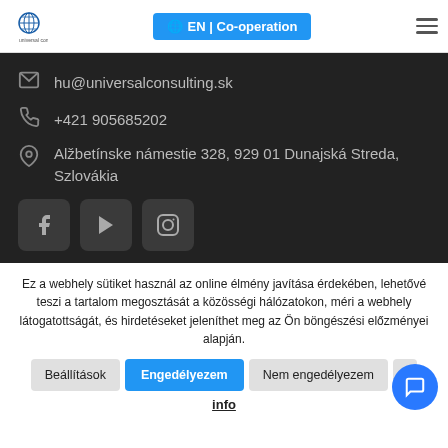[Figure (logo): Universal Consulting logo with globe/star icon and text]
[Figure (screenshot): Language/co-operation button in blue: globe icon + EN | Co-operation]
hu@universalconsulting.sk
+421 905685202
Alžbetínske námestie 328, 929 01 Dunajská Streda, Szlovákia
[Figure (screenshot): Social media icons: Facebook, YouTube, Instagram]
Ez a webhely sütiket használ az online élmény javítása érdekében, lehetővé teszi a tartalom megosztását a közösségi hálózatokon, méri a webhely látogatottságát, és hirdetéseket jeleníthet meg az Ön böngészési előzményei alapján.
Beállítások
Engedélyezem
Nem engedélyezem
info